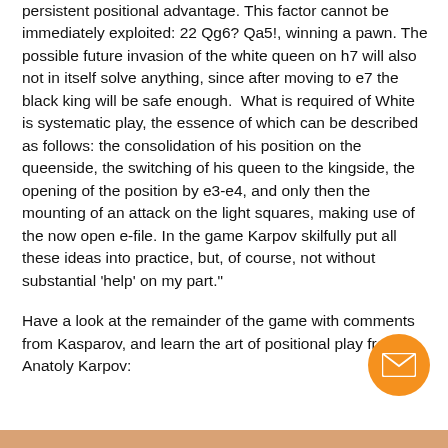persistent positional advantage. This factor cannot be immediately exploited: 22 Qg6? Qa5!, winning a pawn. The possible future invasion of the white queen on h7 will also not in itself solve anything, since after moving to e7 the black king will be safe enough.  What is required of White is systematic play, the essence of which can be described as follows: the consolidation of his position on the queenside, the switching of his queen to the kingside, the opening of the position by e3-e4, and only then the mounting of an attack on the light squares, making use of the now open e-file. In the game Karpov skilfully put all these ideas into practice, but, of course, not without substantial 'help' on my part."
Have a look at the remainder of the game with comments from Kasparov, and learn the art of positional play from Anatoly Karpov:
[Figure (other): Orange circular email/envelope button icon in the bottom-right area]